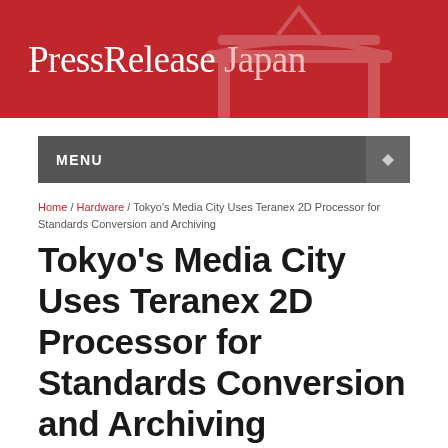PressRelease Japan
MENU
Home / Hardware / Tokyo's Media City Uses Teranex 2D Processor for Standards Conversion and Archiving
Tokyo's Media City Uses Teranex 2D Processor for Standards Conversion and Archiving
By Press Release Japan